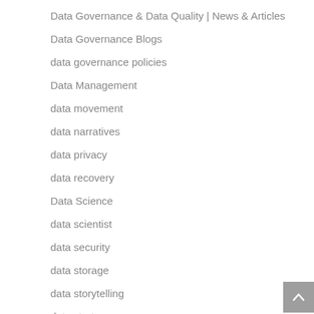Data Governance & Data Quality | News & Articles
Data Governance Blogs
data governance policies
Data Management
data movement
data narratives
data privacy
data recovery
Data Science
data scientist
data security
data storage
data storytelling
data strategy
Data Strategy Blogs
Data Strategy News, Articles, & Education